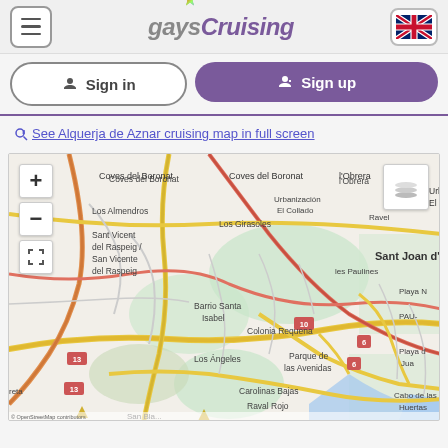[Figure (screenshot): gaysCruising website header with hamburger menu, logo, and UK flag language selector]
Sign in
Sign up
See Alquerja de Aznar cruising map in full screen
[Figure (map): OpenStreetMap showing Alquerja de Aznar area near Alicante, Spain, with place names including Mutxamel, Sant Joan d'Alacant, Coves del Boronat, Urbanización El Collado, Los Almendros, Sant Vicent del Raspeig / San Vicente del Raspeig, Los Girasoles, Ravel, les Paulines, Barrio Santa Isabel, Colonia Requena, Parque de las Avenidas, Los Ángeles, Carolinas Bajas, Raval Rojo, Cabo de las Huertas, Playa N, PAU-, Playa d Juan, reta. Map has zoom controls (+/-) and fullscreen button on left, layer selector on right.]